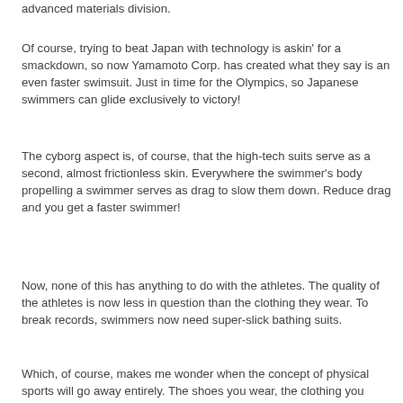advanced materials division.
Of course, trying to beat Japan with technology is askin' for a smackdown, so now Yamamoto Corp. has created what they say is an even faster swimsuit. Just in time for the Olympics, so Japanese swimmers can glide exclusively to victory!
The cyborg aspect is, of course, that the high-tech suits serve as a second, almost frictionless skin. Everywhere the swimmer's body propelling a swimmer serves as drag to slow them down. Reduce drag and you get a faster swimmer!
Now, none of this has anything to do with the athletes. The quality of the athletes is now less in question than the clothing they wear. To break records, swimmers now need super-slick bathing suits.
Which, of course, makes me wonder when the concept of physical sports will go away entirely. The shoes you wear, the clothing you wear, whether or not you have mechanical feet - all these things are technological developments, not